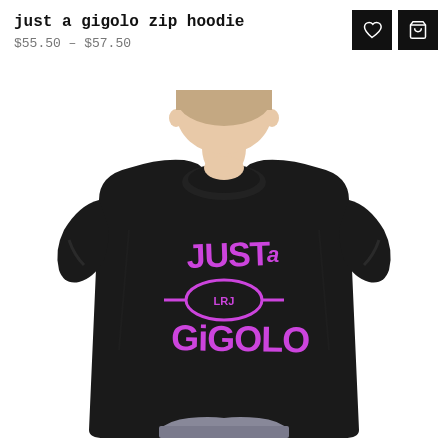just a gigolo zip hoodie
$55.50 – $57.50
[Figure (photo): Person wearing a black t-shirt with purple 'JUST a GiGOLO' graphic text and a logo badge in the center, photographed from chest up against a white background.]